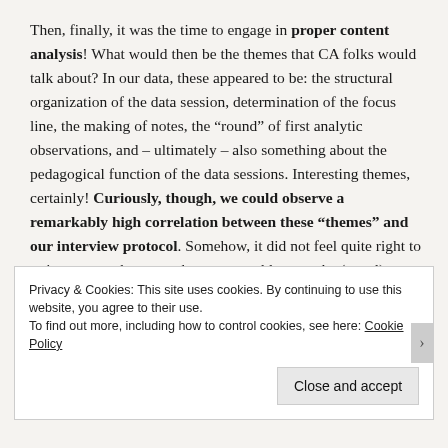Then, finally, it was the time to engage in proper content analysis! What would then be the themes that CA folks would talk about? In our data, these appeared to be: the structural organization of the data session, determination of the focus line, the making of notes, the “round” of first analytic observations, and – ultimately – also something about the pedagogical function of the data sessions. Interesting themes, certainly! Curiously, though, we could observe a remarkably high correlation between these “themes” and our interview protocol. Somehow, it did not feel quite right to write a research paper where we would report the (equal) occurrence of all these themes in
Privacy & Cookies: This site uses cookies. By continuing to use this website, you agree to their use.
To find out more, including how to control cookies, see here: Cookie Policy
Close and accept